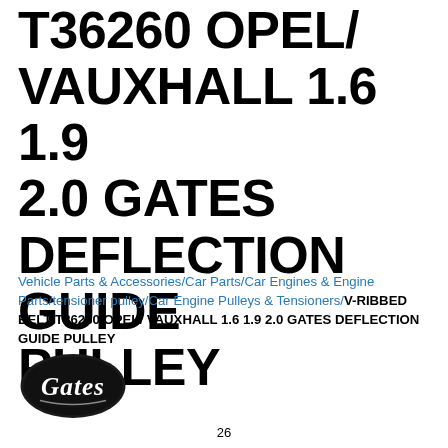T36260 OPEL/ VAUXHALL 1.6 1.9 2.0 GATES DEFLECTION GUIDE PULLEY
Vehicle Parts & Accessories/Car Parts/Car Engines & Engine Parts/tensioner pulley/Car Engine Pulleys & Tensioners/V-RIBBED BELT T36260 OPEL/ VAUXHALL 1.6 1.9 2.0 GATES DEFLECTION GUIDE PULLEY
[Figure (logo): Gates brand logo — oval black shape with white italic 'Gates' script text]
26